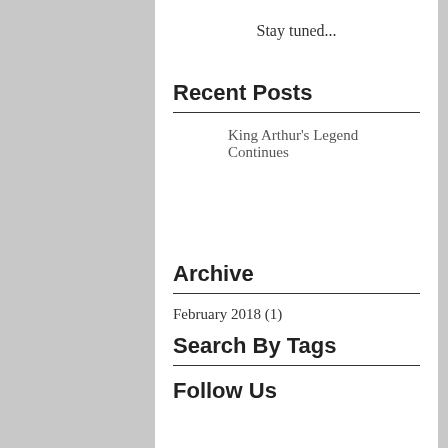Stay tuned...
Recent Posts
King Arthur's Legend Continues
Archive
February 2018 (1)
Search By Tags
Follow Us